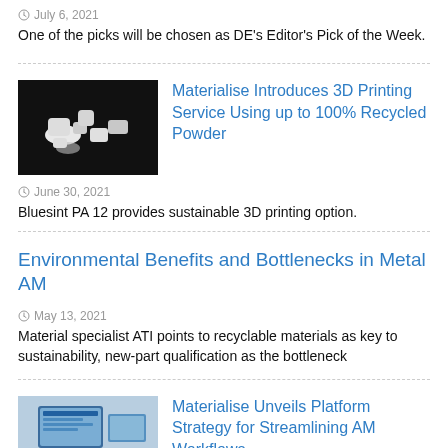July 6, 2021
One of the picks will be chosen as DE's Editor's Pick of the Week.
[Figure (photo): White 3D printed plastic parts on a black background]
Materialise Introduces 3D Printing Service Using up to 100% Recycled Powder
June 30, 2021
Bluesint PA 12 provides sustainable 3D printing option.
Environmental Benefits and Bottlenecks in Metal AM
May 13, 2021
Material specialist ATI points to recyclable materials as key to sustainability, new-part qualification as the bottleneck
[Figure (photo): Computer monitor on a desk showing software interface]
Materialise Unveils Platform Strategy for Streamlining AM Workflows